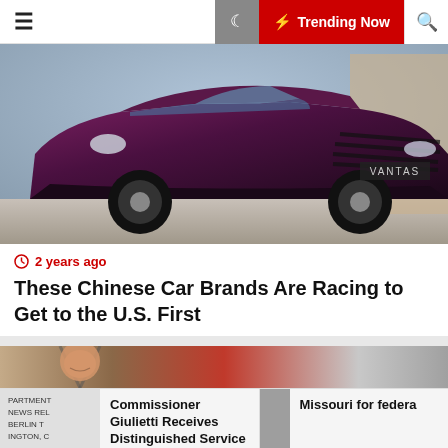☰  🌙  ⚡ Trending Now  🔍
[Figure (photo): Dark maroon/purple Vantas SUV photographed from front-three-quarter angle]
2 years ago
These Chinese Car Brands Are Racing to Get to the U.S. First
[Figure (photo): Baby sleeping in a red and grey car seat]
Commissioner Giulietti Receives Distinguished Service Award from...
Missouri for federa